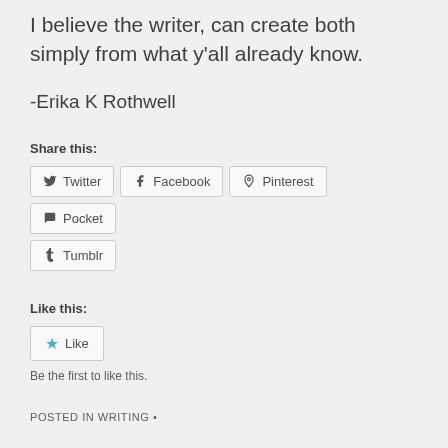I believe the writer, can create both simply from what y'all already know.
-Erika K Rothwell
Share this:
[Figure (other): Social share buttons: Twitter, Facebook, Pinterest, Pocket, Tumblr]
Like this:
[Figure (other): Like button with star icon]
Be the first to like this.
POSTED IN WRITING •